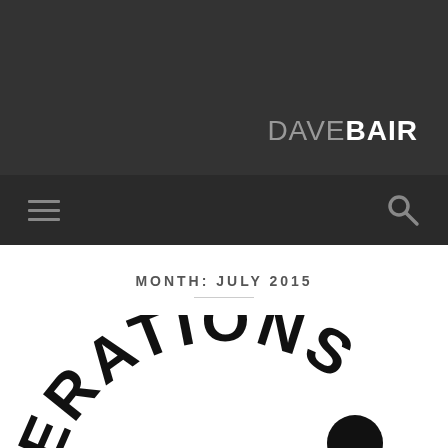DAVEBAIR
[Figure (screenshot): Navigation bar with hamburger menu icon on left and search icon on right]
MONTH: JULY 2015
[Figure (logo): Curved arched text reading FEDERATION (partially visible), black bold letters on white background, circular logo partially cut off]